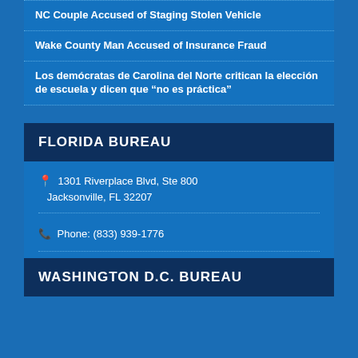NC Couple Accused of Staging Stolen Vehicle
Wake County Man Accused of Insurance Fraud
Los demócratas de Carolina del Norte critican la elección de escuela y dicen que “no es práctica”
FLORIDA BUREAU
1301 Riverplace Blvd, Ste 800
Jacksonville, FL 32207
Phone: (833) 939-1776
WASHINGTON D.C. BUREAU